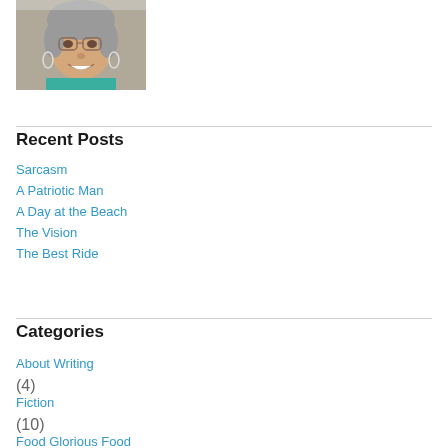[Figure (photo): Portrait photo of a woman with gray hair and glasses, wearing a teal top and large hoop earrings, smiling at the camera]
Recent Posts
Sarcasm
A Patriotic Man
A Day at the Beach
The Vision
The Best Ride
Categories
About Writing (4)
Fiction (10)
Food Glorious Food (29)